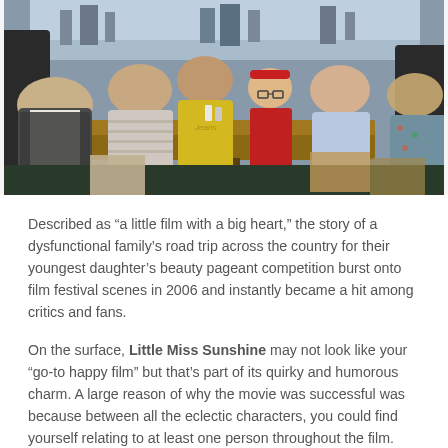[Figure (photo): A family of six seated around a diner table in a restaurant. From left to right: an older man in a vest, a man in a striped shirt, a young person in a yellow t-shirt, a young girl in a red outfit wearing a red headband and glasses in the center, a woman in a light blue blouse, and a man in a floral shirt on the right. The setting appears to be a casual diner with booths and windows in the background.]
Described as “a little film with a big heart,” the story of a dysfunctional family’s road trip across the country for their youngest daughter’s beauty pageant competition burst onto film festival scenes in 2006 and instantly became a hit among critics and fans.
On the surface, Little Miss Sunshine may not look like your “go-to happy film” but that’s part of its quirky and humorous charm. A large reason of why the movie was successful was because between all the eclectic characters, you could find yourself relating to at least one person throughout the film. The realness of their